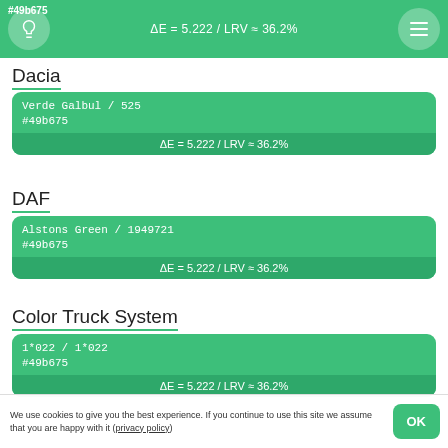#49b675 ΔE = 5.222 / LRV ≈ 36.2%
Dacia
Verde Galbul / 525
#49b675
ΔE = 5.222 / LRV ≈ 36.2%
DAF
Alstons Green / 1949721
#49b675
ΔE = 5.222 / LRV ≈ 36.2%
Color Truck System
1*022 / 1*022
#49b675
ΔE = 5.222 / LRV ≈ 36.2%
We use cookies to give you the best experience. If you continue to use this site we assume that you are happy with it (privacy policy)